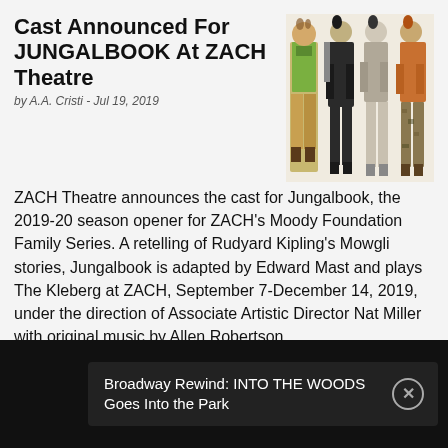Cast Announced For JUNGALBOOK At ZACH Theatre
by A.A. Cristi - Jul 19, 2019
[Figure (illustration): Costume design illustrations showing four theatrical characters in animal-themed costumes for Jungalbook production]
ZACH Theatre announces the cast for Jungalbook, the 2019-20 season opener for ZACH's Moody Foundation Family Series. A retelling of Rudyard Kipling's Mowgli stories, Jungalbook is adapted by Edward Mast and plays The Kleberg at ZACH, September 7-December 14, 2019, under the direction of Associate Artistic Director Nat Miller with original music by Allen Robertson.
Broadway Rewind: INTO THE WOODS Goes Into the Park